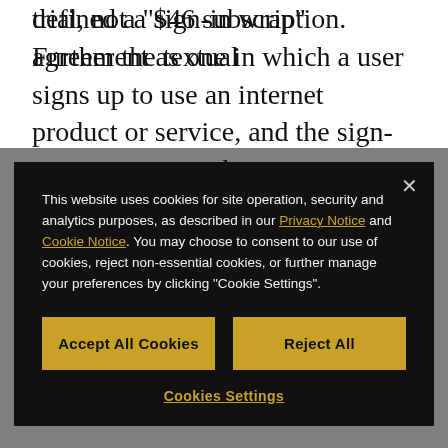defined a "sign-in wrap" agreement as one in which a user signs up to use an internet product or service, and the sign-up screen states that acceptance of a separate agreement is required before the user can access the service. While a link to the separate
[Figure (screenshot): Cookie consent modal overlay with dark background. Contains cookie notice text referencing Privacy Notice and Cookie Notice links, two gold buttons labeled 'Accept All Cookies' and 'Reject All', and a 'Cookies Settings' link at the bottom. A close (×) button appears in the top right corner.]
trial, not a $46 subscription. Further the textual